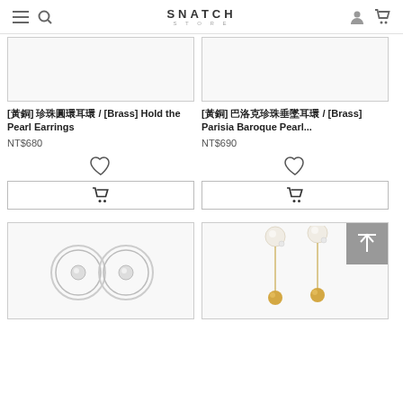SNATCH STORE
[Figure (screenshot): Left product image area - blank/white product photo box for Hold the Pearl Earrings]
[Figure (screenshot): Right product image area - blank/white product photo box for Parisia Baroque Pearl]
[黃銅] 珍珠圓環耳環 / [Brass] Hold the Pearl Earrings
NT$680
[黃銅] 巴洛克珍珠垂墜耳環 / [Brass] Parisia Baroque Pearl...
NT$690
[Figure (screenshot): Silver circular pearl earrings product photo - two round hoop earrings with pearl center]
[Figure (screenshot): Gold chain pearl drop earrings product photo - long chain earrings with pearl top and gold bead bottom]